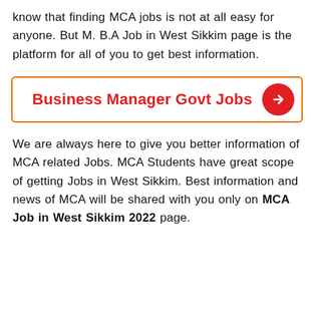know that finding MCA jobs is not at all easy for anyone. But M. B.A Job in West Sikkim page is the platform for all of you to get best information.
[Figure (other): Button with orange border and red text reading 'Business Manager Govt Jobs' with a red circle arrow icon]
We are always here to give you better information of MCA related Jobs. MCA Students have great scope of getting Jobs in West Sikkim. Best information and news of MCA will be shared with you only on MCA Job in West Sikkim 2022 page.